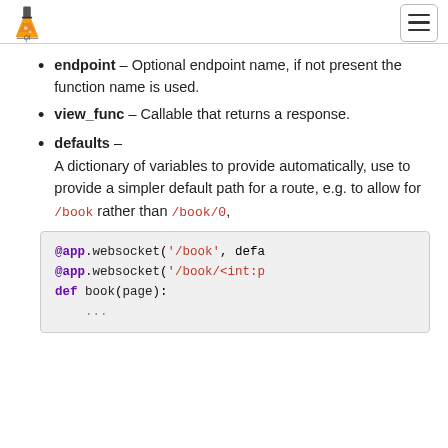Qt logo and menu button
endpoint – Optional endpoint name, if not present the function name is used.
view_func – Callable that returns a response.
defaults – A dictionary of variables to provide automatically, use to provide a simpler default path for a route, e.g. to allow for /book rather than /book/0,
[Figure (screenshot): Code block showing @app.websocket('/book', defa..., @app.websocket('/book/<int:p..., def book(page): ...]